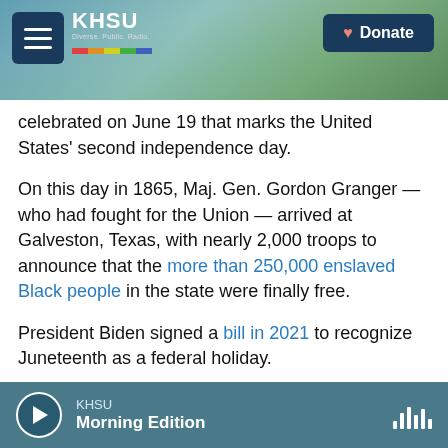[Figure (screenshot): KHSU radio website header with beach/coastal background photo, hamburger menu button, KHSU logo with rainbow stripe, and Donate button]
celebrated on June 19 that marks the United States' second independence day.
On this day in 1865, Maj. Gen. Gordon Granger — who had fought for the Union — arrived at Galveston, Texas, with nearly 2,000 troops to announce that the more than 250,000 enslaved Black people in the state were finally free.
President Biden signed a bill in 2021 to recognize Juneteenth as a federal holiday.
Copyright 2022 NPR. To see more, visit https://www.npr.org
KHSU Morning Edition